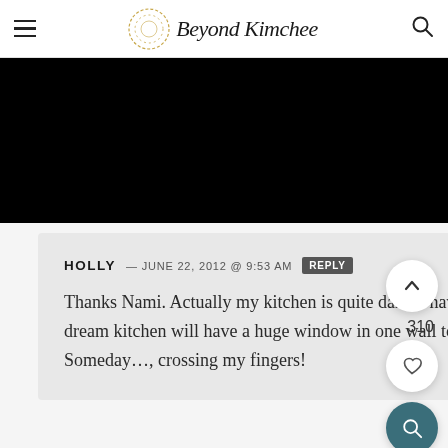Beyond Kimchee
[Figure (screenshot): Black image/photo area below the header navigation bar]
HOLLY — JUNE 22, 2012 @ 9:53 AM [REPLY]

Thanks Nami. Actually my kitchen is quite dark. I have to turn on the light during the day. My dream kitchen will have a huge window in one wall to bring all the natural sunlight into the kitchen. Someday…, crossing my fingers!